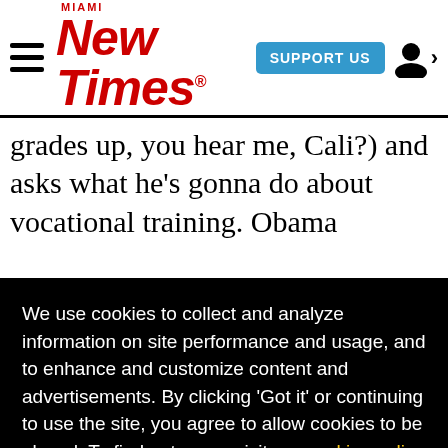MIAMI New Times | SUPPORT US
grades up, you hear me, Cali?) and asks what he's gonna do about vocational training. Obama
[Figure (screenshot): Cookie consent overlay on Miami New Times website with black background, text about cookie policy, links to cookies policy and privacy policy, and a yellow 'Got it!' button]
and Obama knows it), and getting rid of forms